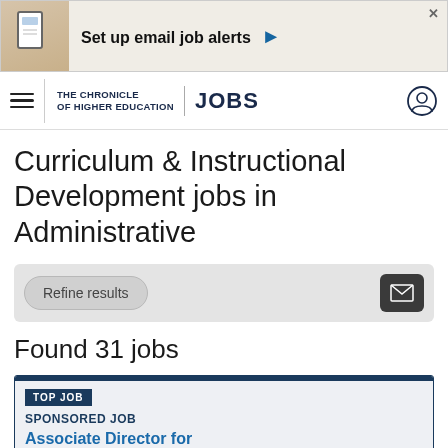[Figure (screenshot): Advertisement banner: Set up email job alerts with arrow button and close X]
THE CHRONICLE OF HIGHER EDUCATION | JOBS
Curriculum & Instructional Development jobs in Administrative
Refine results [email icon button]
Found 31 jobs
TOP JOB
SPONSORED JOB
Associate Director for